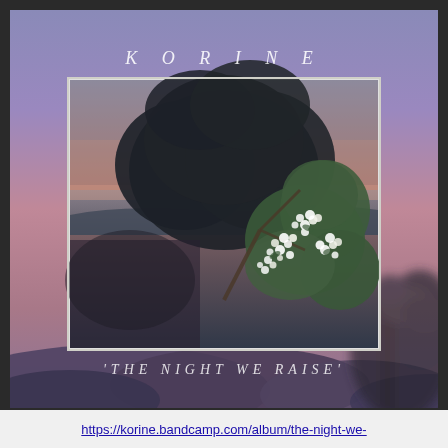[Figure (illustration): Album artwork for Korine 'The Night We Raise' — a square album cover showing a twilight lakeside scene with dark silhouetted trees and white flowering branches in the foreground, set against a purple/lavender gradient dusk sky. The artist name KORINE appears in spaced italic letters above the photo, and the album title 'THE NIGHT WE RAISE' appears below in spaced italic letters. The whole image sits on a dark gray background.]
https://korine.bandcamp.com/album/the-night-we-